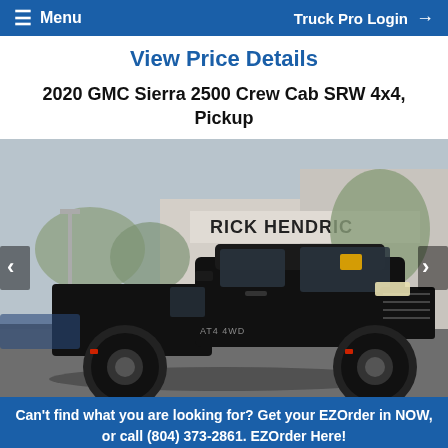Menu   Truck Pro Login
View Price Details
2020 GMC Sierra 2500 Crew Cab SRW 4x4, Pickup
[Figure (photo): Black 2020 GMC Sierra 2500 HD pickup truck photographed at a Rick Hendrick dealership lot, front three-quarter view, lifted with large off-road tires, trees and dealership sign visible in background.]
Can't find what you are looking for? Get your EZOrder in NOW, or call (804) 373-2861. EZOrder Here!